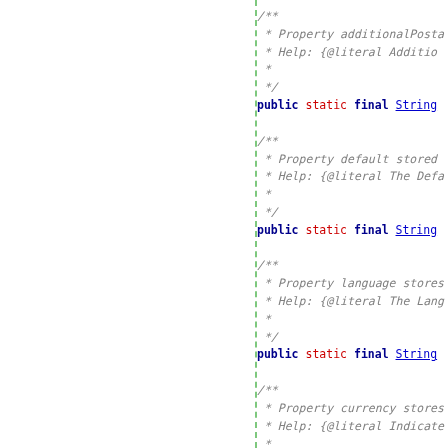/** * Property additionalPosta * Help: {@literal Additio *  */ public static final String

/** * Property default stored * Help: {@literal The Defa *  */ public static final String

/** * Property language stores * Help: {@literal The Lang *  */ public static final String

/** * Property currency stores * Help: {@literal Indicate *  */ public static final String